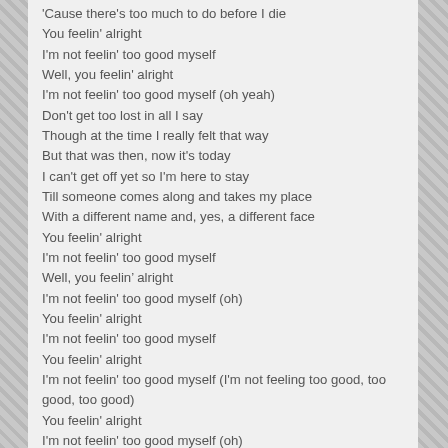'Cause there's too much to do before I die
You feelin' alright
I'm not feelin' too good myself
Well, you feelin' alright
I'm not feelin' too good myself (oh yeah)
Don't get too lost in all I say
Though at the time I really felt that way
But that was then, now it's today
I can't get off yet so I'm here to stay
Till someone comes along and takes my place
With a different name and, yes, a different face
You feelin' alright
I'm not feelin' too good myself
Well, you feelin' alright
I'm not feelin' too good myself (oh)
You feelin' alright
I'm not feelin' too good myself
You feelin' alright
I'm not feelin' too good myself (I'm not feeling too good, too good, too good)
You feelin' alright
I'm not feelin' too good myself (oh)
You feelin' alright